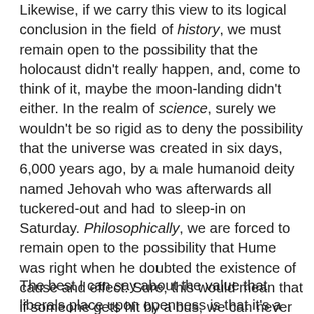Likewise, if we carry this view to its logical conclusion in the field of history, we must remain open to the possibility that the holocaust didn't really happen, and, come to think of it, maybe the moon-landing didn't either. In the realm of science, surely we wouldn't be so rigid as to deny the possibility that the universe was created in six days, 6,000 years ago, by a male humanoid deity named Jehovah who was afterwards all tuckered-out and had to sleep-in on Saturday. Philosophically, we are forced to remain open to the possibility that Hume was right when he doubted the existence of cause and effect. Sure, this would mean that if someone gets hit by a bus, we can never know for sure that he wouldn't lie splatted on the asphalt even if nothing had hit him, but isn't keeping an open mind preferable to allowing our thoughts to become “rigid” and no longer “living”?
The best I can say about the value that liberals place upon openness is that it's a crock. No liberals are